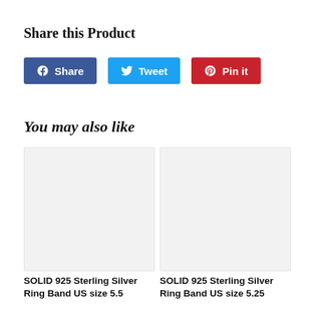Share this Product
[Figure (other): Social share buttons: Facebook Share, Twitter Tweet, Pinterest Pin it]
You may also like
[Figure (other): Product image placeholder (light gray box) for SOLID 925 Sterling Silver Ring Band US size 5.5]
SOLID 925 Sterling Silver Ring Band US size 5.5
[Figure (other): Product image placeholder (light gray box) for SOLID 925 Sterling Silver Ring Band US size 5.25]
SOLID 925 Sterling Silver Ring Band US size 5.25